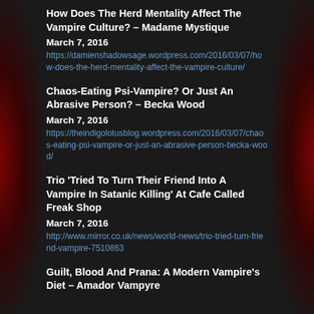How Does The Herd Mentality Affect The Vampire Culture? – Madame Mystique
March 7, 2016
https://damienshadowsage.wordpress.com/2016/03/07/how-does-the-herd-mentality-affect-the-vampire-culture/
Chaos-Eating Psi-Vampire? Or Just An Abrasive Person? – Becka Wood
March 7, 2016
https://theindigolotusblog.wordpress.com/2016/03/07/chaos-eating-psi-vampire-or-just-an-abrasive-person-becka-wood/
Trio 'Tried To Turn Their Friend Into A Vampire In Satanic Killing' At Cafe Called Freak Shop
March 7, 2016
http://www.mirror.co.uk/news/world-news/trio-tried-turn-friend-vampire-7510863
Guilt, Blood And Prana: A Modern Vampire's Diet – Amador Vampyre